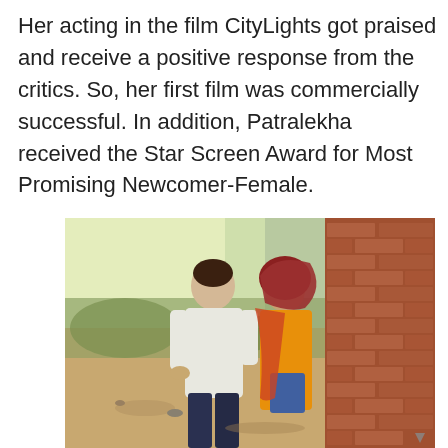Her acting in the film CityLights got praised and receive a positive response from the critics. So, her first film was commercially successful. In addition, Patralekha received the Star Screen Award for Most Promising Newcomer-Female.
[Figure (photo): A man in a white shirt and a woman in a colorful orange/red dupatta standing outdoors near a brick wall, appearing to be a still from the film CityLights.]